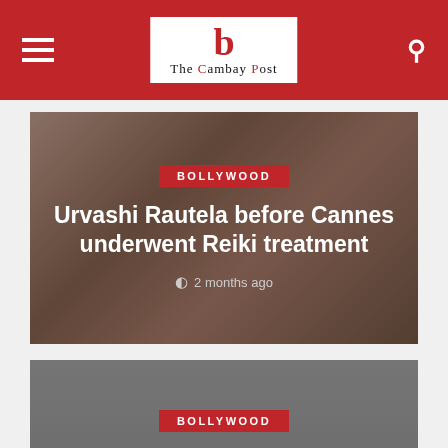The Cambay Post
[Figure (photo): Article card with photo background of woman in embellished dress, with BOLLYWOOD category badge, headline 'Urvashi Rautela before Cannes underwent Reiki treatment', and timestamp '2 months ago']
[Figure (photo): Article card with gray background, BOLLYWOOD category badge, and headline 'Taapsee Takes Off For A Chic Holiday In Cannes']